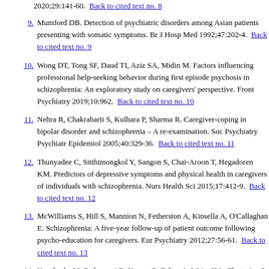2020;29:141-60. Back to cited text no. 8
9. Mumford DB. Detection of psychiatric disorders among Asian patients presenting with somatic symptoms. Br J Hosp Med 1992;47:202-4. Back to cited text no. 9
10. Wong DT, Tong SF, Daud TI, Aziz SA, Midin M. Factors influencing professional help-seeking behavior during first episode psychosis in schizophrenia: An exploratory study on caregivers' perspective. Front Psychiatry 2019;10:962. Back to cited text no. 10
11. Nehra R, Chakrabarti S, Kulhara P, Sharma R. Caregiver-coping in bipolar disorder and schizophrenia – A re-examination. Soc Psychiatry Psychiatr Epidemiol 2005;40:329-36. Back to cited text no. 11
12. Thunyadee C, Sitthimongkol Y, Sangon S, Chai-Aroon T, Hegadoren KM. Predictors of depressive symptoms and physical health in caregivers of individuals with schizophrenia. Nurs Health Sci 2015;17:412-9. Back to cited text no. 12
13. McWilliams S, Hill S, Mannion N, Fetherston A, Kinsella A, O'Callaghan E. Schizophrenia: A five-year follow-up of patient outcome following psycho-education for caregivers. Eur Psychiatry 2012;27:56-61. Back to cited text no. 13
14. Koschorke M, Padmavati R, Kumar S, Cohen A, Weiss HA, Chatterjee S, et al.